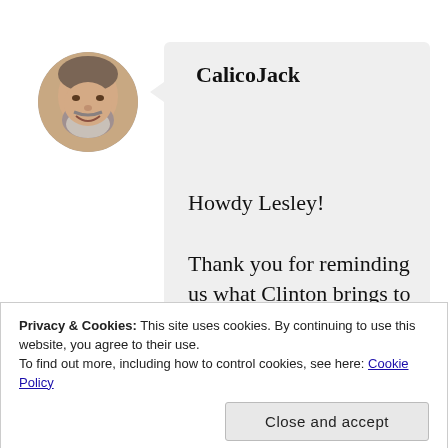[Figure (photo): Circular avatar photo of a middle-aged man with a beard and grey hair, smiling]
CalicoJack
Howdy Lesley!

Thank you for reminding us what Clinton brings to the table and has gifted us all with. The number of girls and women who are
Privacy & Cookies: This site uses cookies. By continuing to use this website, you agree to their use.
To find out more, including how to control cookies, see here: Cookie Policy
Close and accept
matter his or her politics,